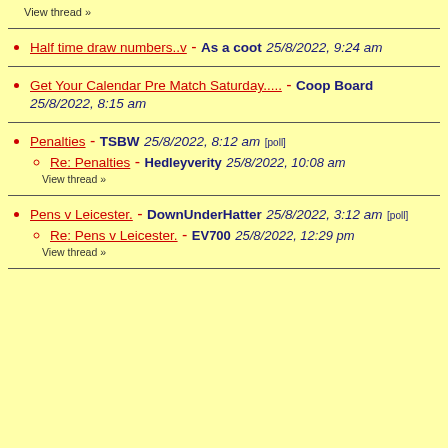View thread »
Half time draw numbers..v - As a coot 25/8/2022, 9:24 am
Get Your Calendar Pre Match Saturday..... - Coop Board 25/8/2022, 8:15 am
Penalties - TSBW 25/8/2022, 8:12 am [poll]
  Re: Penalties - Hedleyverity 25/8/2022, 10:08 am
  View thread »
Pens v Leicester. - DownUnderHatter 25/8/2022, 3:12 am [poll]
  Re: Pens v Leicester. - EV700 25/8/2022, 12:29 pm
  View thread »